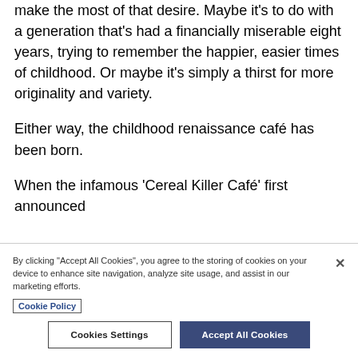make the most of that desire. Maybe it's to do with a generation that's had a financially miserable eight years, trying to remember the happier, easier times of childhood. Or maybe it's simply a thirst for more originality and variety.
Either way, the childhood renaissance café has been born.
When the infamous 'Cereal Killer Café' first announced
By clicking "Accept All Cookies", you agree to the storing of cookies on your device to enhance site navigation, analyze site usage, and assist in our marketing efforts.
Cookie Policy
Cookies Settings
Accept All Cookies